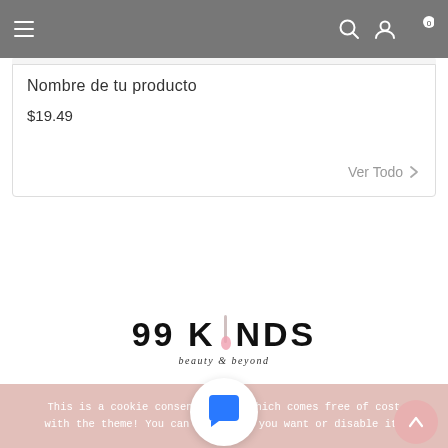Navigation header with hamburger menu, search icon, user icon, and cart (0)
Nombre de tu producto
$19.49
Ver Todo >
[Figure (logo): 99 KINDS beauty & beyond logo with nail polish icon replacing the letter I]
This is a cookie consent dialog which comes free of cost with the theme! You can use it if you want or disable it.
[Figure (illustration): Chat bubble icon button (blue speech bubble on white circle)]
[Figure (illustration): Back to top button (pink circle with upward chevron)]